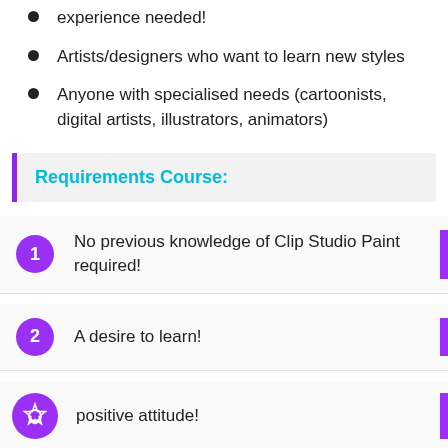experience needed!
Artists/designers who want to learn new styles
Anyone with specialised needs (cartoonists, digital artists, illustrators, animators)
Requirements Course:
No previous knowledge of Clip Studio Paint required!
A desire to learn!
positive attitude!
Description C…